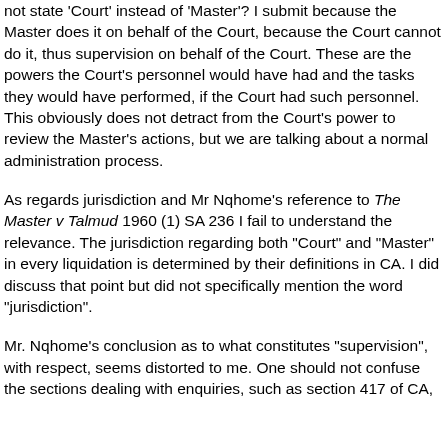not state 'Court' instead of 'Master'? I submit because the Master does it on behalf of the Court, because the Court cannot do it, thus supervision on behalf of the Court. These are the powers the Court's personnel would have had and the tasks they would have performed, if the Court had such personnel. This obviously does not detract from the Court's power to review the Master's actions, but we are talking about a normal administration process.
As regards jurisdiction and Mr Nqhome's reference to The Master v Talmud 1960 (1) SA 236 I fail to understand the relevance. The jurisdiction regarding both "Court" and "Master" in every liquidation is determined by their definitions in CA. I did discuss that point but did not specifically mention the word "jurisdiction".
Mr. Nqhome's conclusion as to what constitutes "supervision", with respect, seems distorted to me. One should not confuse the sections dealing with enquiries, such as section 417 of CA,